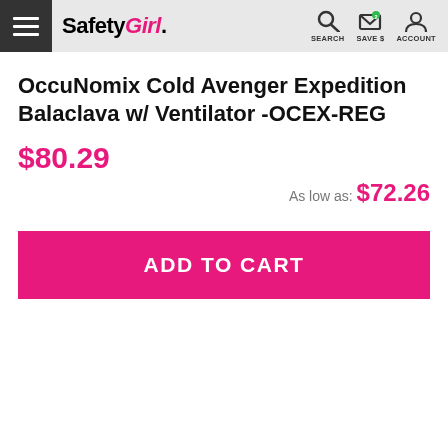SafetyGirl. SEARCH SAVE $ ACCOUNT
OccuNomix Cold Avenger Expedition Balaclava w/ Ventilator -OCEX-REG
$80.29
As low as: $72.26
ADD TO CART